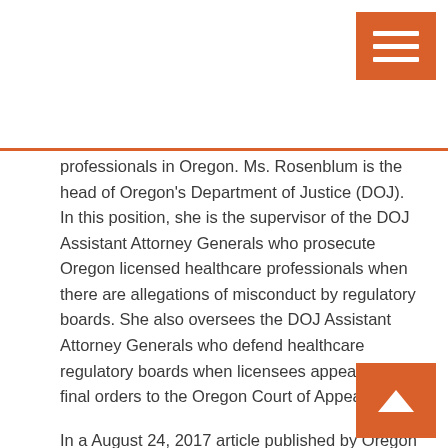[Figure (other): Orange hamburger menu button in top-right corner]
professionals in Oregon. Ms. Rosenblum is the head of Oregon's Department of Justice (DOJ). In this position, she is the supervisor of the DOJ Assistant Attorney Generals who prosecute Oregon licensed healthcare professionals when there are allegations of misconduct by regulatory boards. She also oversees the DOJ Assistant Attorney Generals who defend healthcare regulatory boards when licensees appeal board final orders to the Oregon Court of Appeals.
In a August 24, 2017 article published by Oregon Public Broadcasting's Chris Lehman Ms. Rosenbaum shows herself in a manner HARBR believes will be recognizable to those who have been abused by Oregon healthcare regulatory boards and the DOJ attorneys who represent them. The article dated to...
[Figure (other): Orange scroll-up button with upward arrow in bottom-right corner]